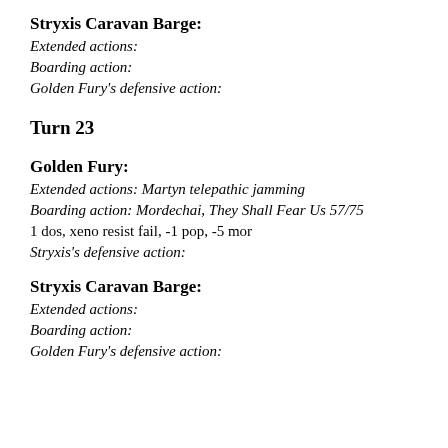Stryxis Caravan Barge:
Extended actions:
Boarding action:
Golden Fury's defensive action:
Turn 23
Golden Fury:
Extended actions: Martyn telepathic jamming
Boarding action: Mordechai, They Shall Fear Us 57/75
1 dos, xeno resist fail, -1 pop, -5 mor
Stryxis's defensive action:
Stryxis Caravan Barge:
Extended actions:
Boarding action:
Golden Fury's defensive action: